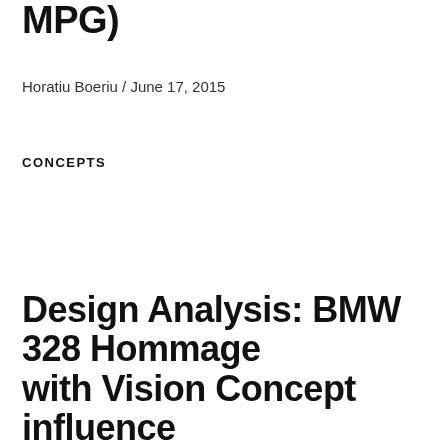MPG)
Horatiu Boeriu / June 17, 2015
CONCEPTS
Design Analysis: BMW 328 Hommage with Vision Concept influence…